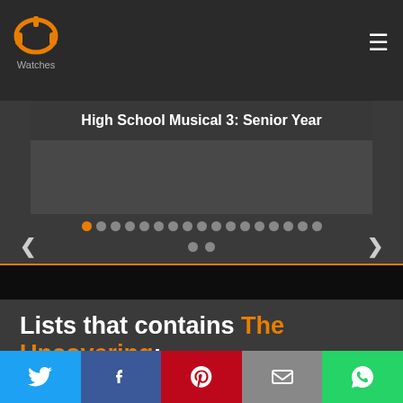[Figure (logo): QP Watches logo with orange headphone/controller icon and grey 'Watches' text below]
High School Musical 3: Senior Year
[Figure (screenshot): Carousel/slider with pagination dots (first dot orange/active, rest grey) and previous/next navigation arrows. Two additional dots on second row center.]
Lists that contains The Uncovering:
[Figure (infographic): Social share bar with Twitter, Facebook, Pinterest, Email, and WhatsApp buttons]